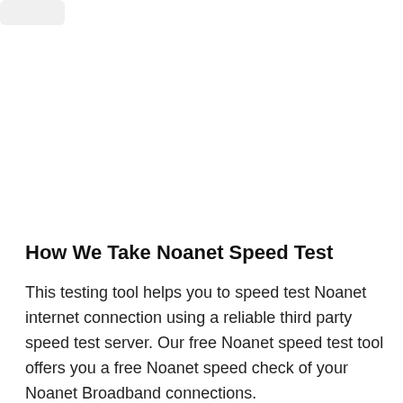How We Take Noanet Speed Test
This testing tool helps you to speed test Noanet internet connection using a reliable third party speed test server. Our free Noanet speed test tool offers you a free Noanet speed check of your Noanet Broadband connections.